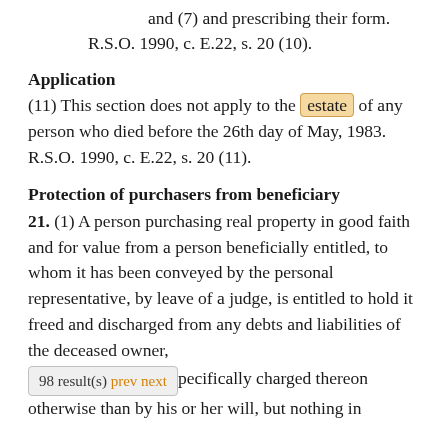and (7) and prescribing their form. R.S.O. 1990, c. E.22, s. 20 (10).
Application
(11) This section does not apply to the estate of any person who died before the 26th day of May, 1983. R.S.O. 1990, c. E.22, s. 20 (11).
Protection of purchasers from beneficiary
21. (1) A person purchasing real property in good faith and for value from a person beneficially entitled, to whom it has been conveyed by the personal representative, by leave of a judge, is entitled to hold it freed and discharged from any debts and liabilities of the deceased owner, specifically charged thereon otherwise than by his or her will, but nothing in